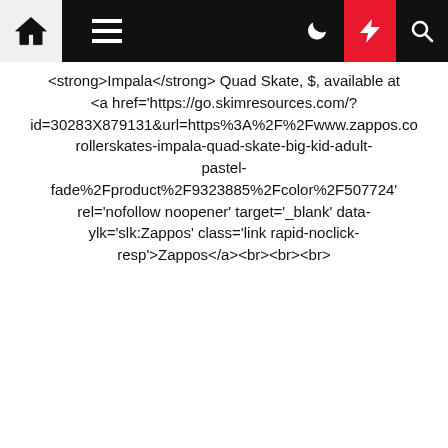[navigation bar with home, menu, moon, bolt, search icons]
<strong>Impala</strong> Quad Skate, $, available at <a href='https://go.skimresources.com/?id=30283X879131&url=https%3A%2F%2Fwww.zappos.co rollerskates-impala-quad-skate-big-kid-adult-pastel-fade%2Fproduct%2F9323885%2Fcolor%2F507724' rel='nofollow noopener' target='_blank' data-ylk='slk:Zappos' class='link rapid-noclick-resp'>Zappos</a><br><br><br>